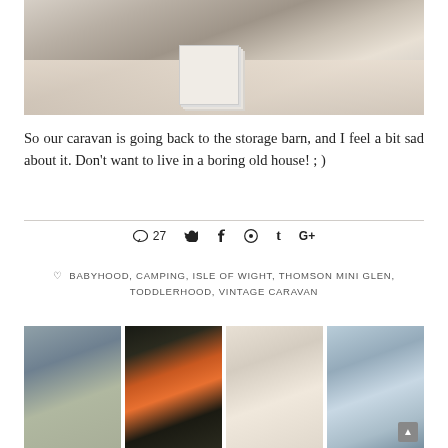[Figure (photo): Child's hands writing or drawing at a table covered with notebooks, flashcards, and small toys/items]
So our caravan is going back to the storage barn, and I feel a bit sad about it. Don't want to live in a boring old house! ; )
♡ 27 [Twitter] [Facebook] [Pinterest] [Tumblr] [Google+]
♡ BABYHOOD, CAMPING, ISLE OF WIGHT, THOMSON MINI GLEN, TODDLERHOOD, VINTAGE CARAVAN
[Figure (photo): Person sitting on a hillside or sandy landscape with chairs]
[Figure (photo): Hands near a fire or flame outdoors]
[Figure (photo): Young girl in a white dress holding something red]
[Figure (photo): Two people walking along a coastal promenade with cliffs in the background]